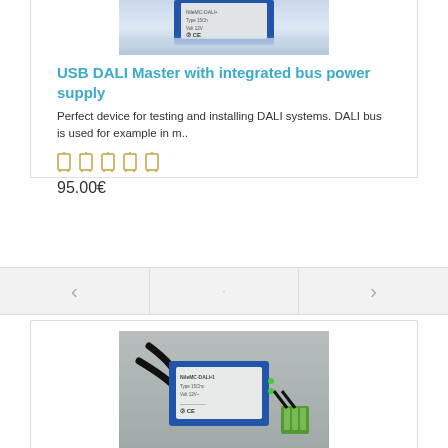[Figure (photo): Partial product photo showing bottom portion of a blue USB DALI device against a light background]
USB DALI Master with integrated bus power supply
Perfect device for testing and installing DALI systems. DALI bus is used for example in m..
[Figure (other): Five star rating icons in gold/yellow color]
95.00€
[Figure (photo): Photo of a blue USB DALI Master device with cables attached and a green connector block beside it]